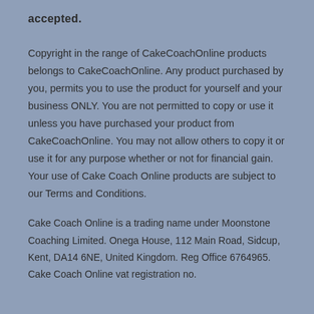accepted.
Copyright in the range of CakeCoachOnline products belongs to CakeCoachOnline. Any product purchased by you, permits you to use the product for yourself and your business ONLY. You are not permitted to copy or use it unless you have purchased your product from CakeCoachOnline. You may not allow others to copy it or use it for any purpose whether or not for financial gain. Your use of Cake Coach Online products are subject to our Terms and Conditions.
Cake Coach Online is a trading name under Moonstone Coaching Limited. Onega House, 112 Main Road, Sidcup, Kent, DA14 6NE, United Kingdom. Reg Office 6764965. Cake Coach Online vat registration no.